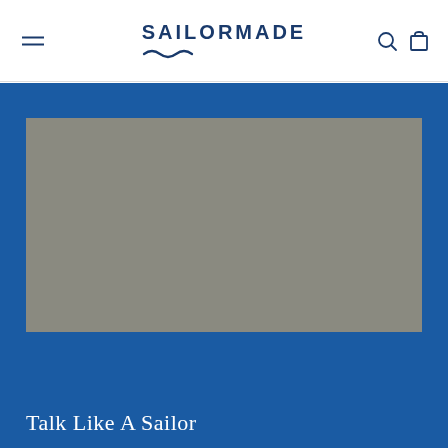SAILORMADE
[Figure (photo): Gray placeholder image rectangle on blue background]
Talk Like A Sailor